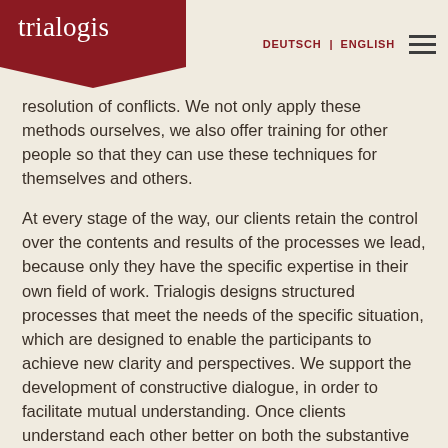trialogis | DEUTSCH | ENGLISH
resolution of conflicts. We not only apply these methods ourselves, we also offer training for other people so that they can use these techniques for themselves and others.
At every stage of the way, our clients retain the control over the contents and results of the processes we lead, because only they have the specific expertise in their own field of work. Trialogis designs structured processes that meet the needs of the specific situation, which are designed to enable the participants to achieve new clarity and perspectives. We support the development of constructive dialogue, in order to facilitate mutual understanding. Once clients understand each other better on both the substantive and emotional levels, they are in a position to work out their own creative solutions.